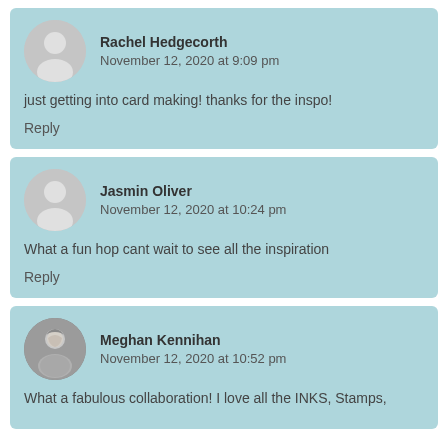Rachel Hedgecorth
November 12, 2020 at 9:09 pm
just getting into card making! thanks for the inspo!
Reply
Jasmin Oliver
November 12, 2020 at 10:24 pm
What a fun hop cant wait to see all the inspiration
Reply
Meghan Kennihan
November 12, 2020 at 10:52 pm
What a fabulous collaboration! I love all the INKS, Stamps,